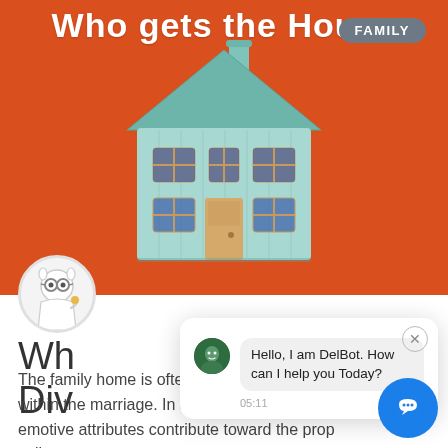[Figure (illustration): Orange background hero image showing a teal illustrated house with windows and a door, with a FAMILY badge in the top right, and the title 'Who gets the House' at the top in white text.]
[Figure (screenshot): Chat popup overlay showing a bot avatar and the message 'Hello, I am DelBot. How can I help you Today?' with timestamp 05:11 and a close button.]
Wh
Div
The family home is often the most valuable asset within the marriage. In a Divorce, many legal emotive attributes contribute toward the property split.